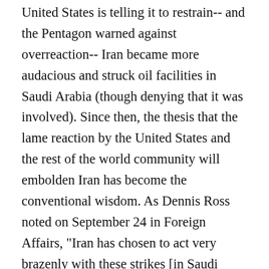United States is telling it to restrain-- and the Pentagon warned against overreaction-- Iran became more audacious and struck oil facilities in Saudi Arabia (though denying that it was involved). Since then, the thesis that the lame reaction by the United States and the rest of the world community will embolden Iran has become the conventional wisdom. As Dennis Ross noted on September 24 in Foreign Affairs, "Iran has chosen to act very brazenly with these strikes [in Saudi Arabia]. If there is no consequence for that choice, the Islamic Republic will be even more emboldened." A New York Times news article noted on September 19 that "seeking to exact a price from the United States for its sanctions on